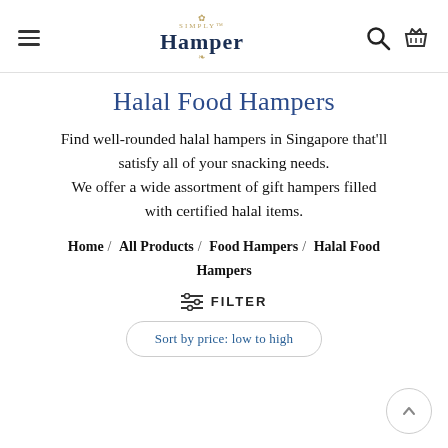Simply Hamper — navigation header with logo, hamburger menu, search and basket icons
Halal Food Hampers
Find well-rounded halal hampers in Singapore that'll satisfy all of your snacking needs. We offer a wide assortment of gift hampers filled with certified halal items.
Home / All Products / Food Hampers / Halal Food Hampers
FILTER
Sort by price: low to high